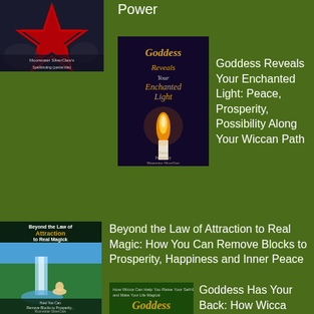[Figure (photo): Book cover: pentagram with red star on dark background, Moonwater SilverClaw Spellbinding book]
Power
[Figure (photo): Book cover: Goddess Reveals Your Enchanted Light with candle flame image, by Moonwater SilverClaw]
Goddess Reveals Your Enchanted Light: Peace, Prosperity, Possibility Along Your Wiccan Path
[Figure (photo): Book cover: Beyond the Law of Attraction to Real Magick, showing waterfall and woman meditating, by Moonwater SilverClaw]
Beyond the Law of Attraction to Real Magic: How You Can Remove Blocks to Prosperity, Happiness and Inner Peace
[Figure (photo): Book cover: Goddess (green cover, partial view)]
Goddess Has Your Back: How Wicca